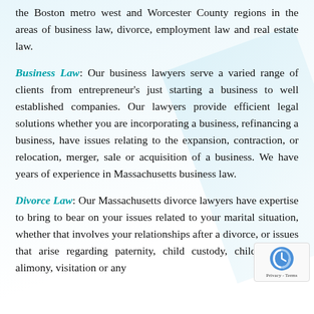the Boston metro west and Worcester County regions in the areas of business law, divorce, employment law and real estate law.
Business Law: Our business lawyers serve a varied range of clients from entrepreneur's just starting a business to well established companies. Our lawyers provide efficient legal solutions whether you are incorporating a business, refinancing a business, have issues relating to the expansion, contraction, or relocation, merger, sale or acquisition of a business. We have years of experience in Massachusetts business law.
Divorce Law: Our Massachusetts divorce lawyers have expertise to bring to bear on your issues related to your marital situation, whether that involves your relationships after a divorce, or issues that arise regarding paternity, child custody, child support, alimony, visitation or any